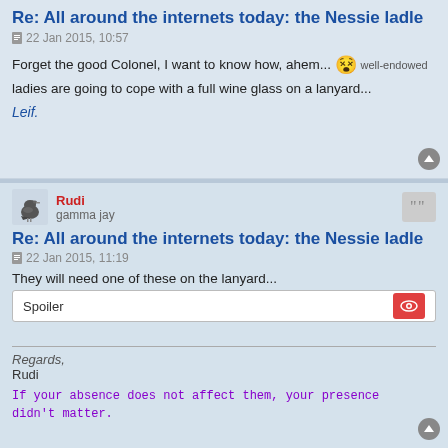Re: All around the internets today: the Nessie ladle
22 Jan 2015, 10:57
Forget the good Colonel, I want to know how, ahem... 😵 well-endowed ladies are going to cope with a full wine glass on a lanyard...
Leif.
Rudi
gamma jay
Re: All around the internets today: the Nessie ladle
22 Jan 2015, 11:19
They will need one of these on the lanyard...
Spoiler
Regards,
Rudi
If your absence does not affect them, your presence didn't matter.